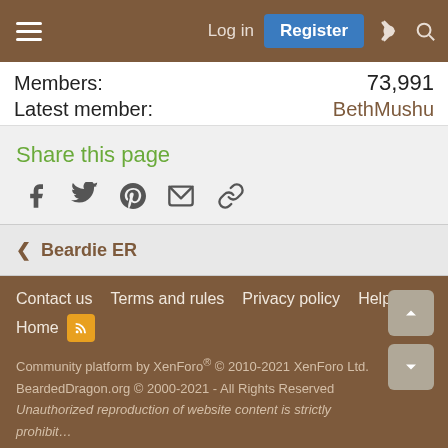Log in | Register
Members: 73,991
Latest member: BethMushu
Share this page
Social share icons: Facebook, Twitter, Pinterest, Email, Link
< Beardie ER
Contact us | Terms and rules | Privacy policy | Help | Home | Community platform by XenForo® © 2010-2021 XenForo Ltd. | BeardedDragon.org © 2000-2021 - All Rights Reserved | Unauthorized reproduction of website content is strictly prohibited